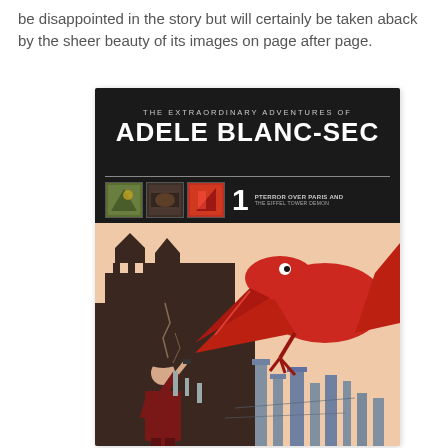be disappointed in the story but will certainly be taken aback by the sheer beauty of its images on page after page.
[Figure (illustration): Book cover of 'The Extraordinary Adventures of Adele Blanc-Sec, Volume 1: Pterror Over Paris and The Eiffel Tower Demon'. Black top bar with bold white title text, three thumbnail comic panels, and a large illustrated scene showing a woman in a dark red coat facing a giant red pterodactyl/pterosaur creature over a cityscape on a peach/salmon background.]